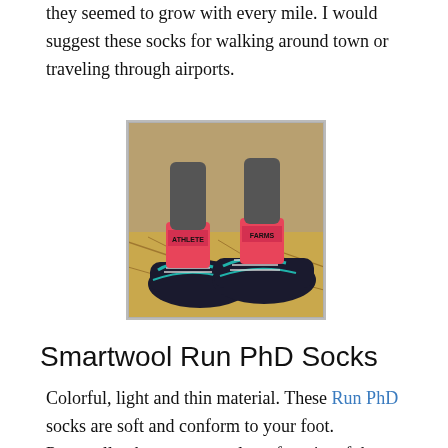they seemed to grow with every mile. I would suggest these socks for walking around town or traveling through airports.
[Figure (photo): Close-up photo of feet wearing colorful pink/teal running socks and dark trail running shoes with teal laces on a dirt/straw ground]
Smartwool Run PhD Socks
Colorful, light and thin material. These Run PhD socks are soft and conform to your foot. Personally, these were my least favorite of the running socks. The heal fell during the run and I felt as if my feet were swimming in my shoes as I